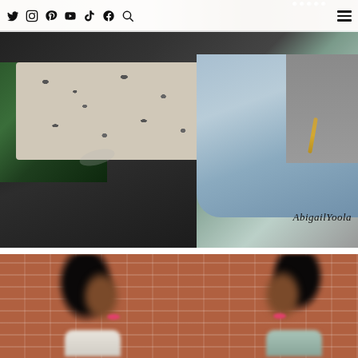Navigation bar with social media icons: Twitter, Instagram, Pinterest, YouTube, TikTok, Facebook, Search, and hamburger menu
[Figure (photo): Close-up flat lay of clothing fabrics including dark denim, leopard print, green plaid/flannel, light wash denim, and gray knit. A watermark reads 'AbigailYoola' in stylized script at the bottom right.]
[Figure (photo): Two blurred side-by-side photos of a Black woman with long dark hair and pink lipstick, posed against a brick wall background, wearing different outfits (white/cream top and teal/denim top).]